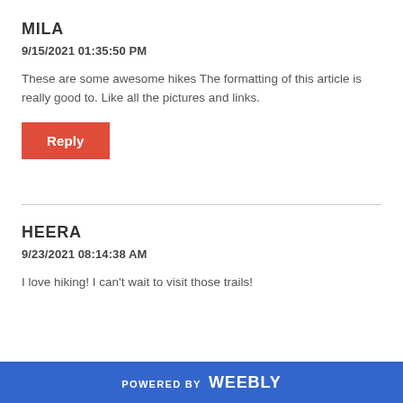MILA
9/15/2021 01:35:50 PM
These are some awesome hikes The formatting of this article is really good to. Like all the pictures and links.
[Figure (other): Red Reply button]
HEERA
9/23/2021 08:14:38 AM
I love hiking! I can't wait to visit those trails!
POWERED BY weebly